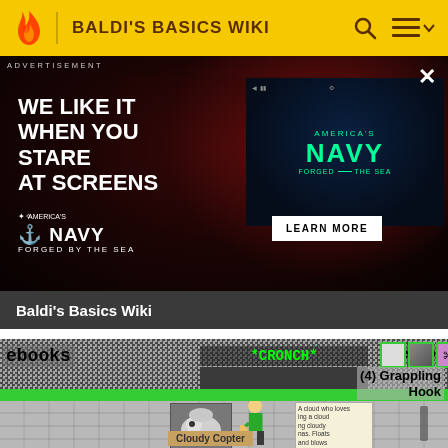BALDI'S BASICS WIKI
[Figure (screenshot): Advertisement for America's Navy 'Forged by the Sea' campaign. Shows a woman looking at a screen with red lighting, with the text 'WE LIKE IT WHEN YOU STARE AT SCREENS' and America's NAVY FORGED BY THE SEA logo. Includes a 'LEARN MORE' button and a secondary screen showing the Navy logo in teal.]
ADVERTISEMENT
WE LIKE IT WHEN YOU STARE AT SCREENS
AMERICA'S NAVY FORGED BY THE SEA
LEARN MORE
NAVY FORGED BY THE SEA
Baldi's Basics Wiki
[Figure (screenshot): Screenshot from Baldi's Basics video game showing static/noise background with green *CRONCH* text, inventory HUD with icons including scissors and X mark, '(4) Grappling Hook' text, and lower game scene with Baldi character, a cloudy creature poster, and 'Cloudy Copter' sign.]
ebooks
*CRONCH*
(4) Grappling Hook
Cloudy Copter